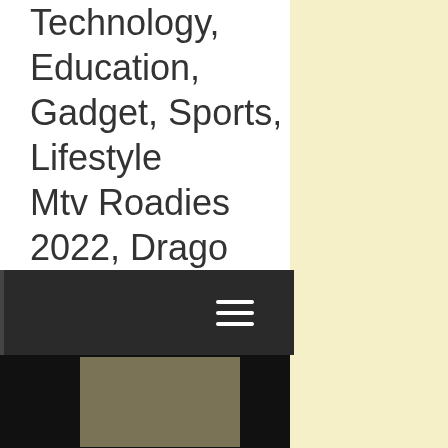Technology, Education, Gadget, Sports, Lifestyle Mtv Roadies 2022, Dragon Splitsvilla X4, Bigg Boss Super Model, Wiki & Biography Reviews, Union Budget 2023 Titan,Viral News &
[Figure (screenshot): Dark navigation bar with hamburger menu icon (three horizontal lines)]
[Figure (photo): Dark background with an olive/khaki colored rectangular image placeholder on the lower portion of the page]